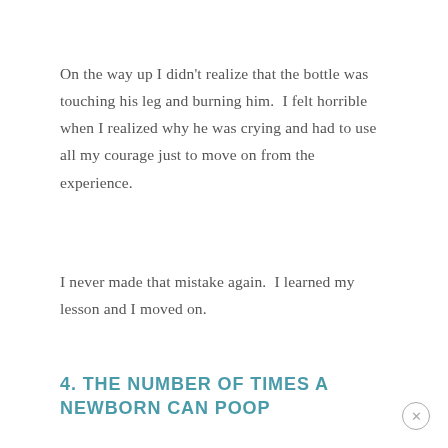On the way up I didn't realize that the bottle was touching his leg and burning him.  I felt horrible when I realized why he was crying and had to use all my courage just to move on from the experience.
I never made that mistake again.  I learned my lesson and I moved on.
4. THE NUMBER OF TIMES A NEWBORN CAN POOP